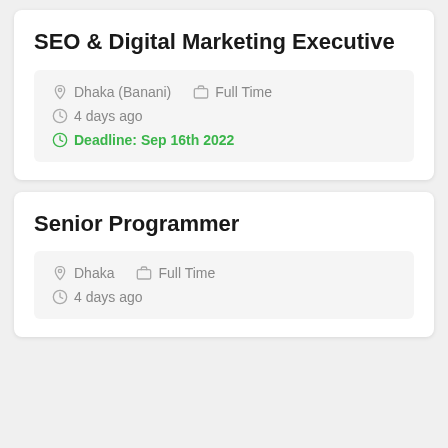SEO & Digital Marketing Executive
Dhaka (Banani)  Full Time
4 days ago
Deadline: Sep 16th 2022
Senior Programmer
Dhaka  Full Time
4 days ago